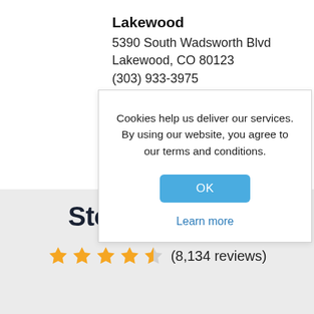Lakewood
5390 South Wadsworth Blvd
Lakewood, CO 80123
(303) 933-3975
See Store Details ▶
Cookies help us deliver our services. By using our website, you agree to our terms and conditions.
OK
Learn more
Store Reviews
★★★★☆ (8,134 reviews)